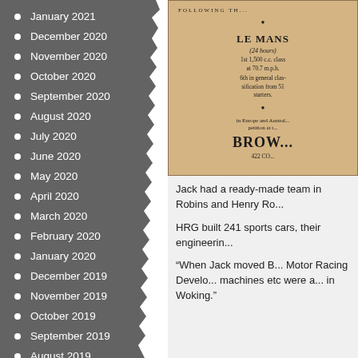January 2021
December 2020
November 2020
October 2020
September 2020
August 2020
July 2020
June 2020
May 2020
April 2020
March 2020
February 2020
January 2020
December 2019
November 2019
October 2019
September 2019
August 2019
July 2019
June 2019
[Figure (photo): Vintage advertisement for Le Mans 24 hours race results showing HRG/Brown car details]
Jack had a ready-made team in Robins and Henry Ro...
HRG built 241 sports cars, their engineerin...
“When Jack moved B... Motor Racing Develo... machines etc were a... in Woking.”